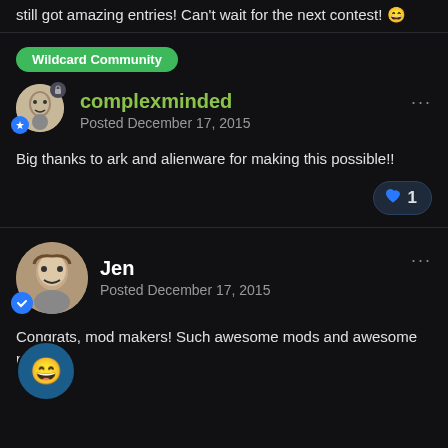still got amazing entries! Can't wait for the next contest! 😄
Wildcard Community
complexminded
Posted December 17, 2015
Big thanks to ark and alienware for making this possible!!
Jen
Posted December 17, 2015
Congrats, mod makers! Such awesome mods and awesome prizes.